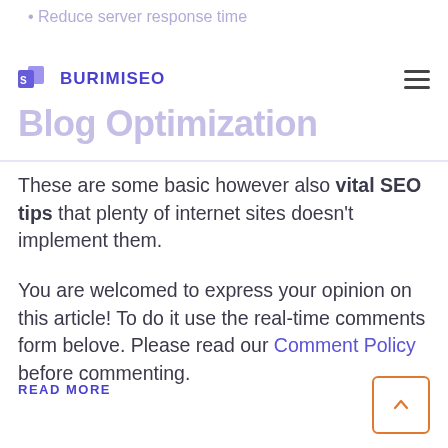Reduce server response time
BURIMISEO
Blog Optimization
These are some basic however also vital SEO tips that plenty of internet sites doesn't implement them.
You are welcomed to express your opinion on this article! To do it use the real-time comments form belove. Please read our Comment Policy before commenting.
READ MORE